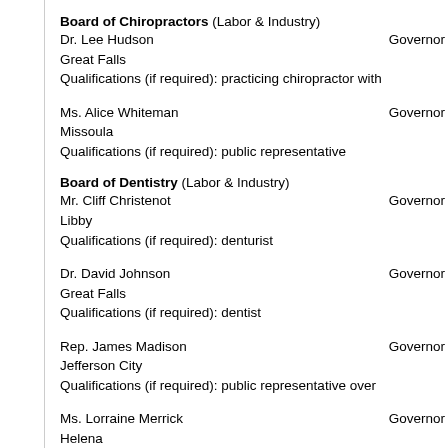Board of Chiropractors (Labor & Industry)
Dr. Lee Hudson	Governor
Great Falls
Qualifications (if required): practicing chiropractor with
Ms. Alice Whiteman	Governor
Missoula
Qualifications (if required): public representative
Board of Dentistry (Labor & Industry)
Mr. Cliff Christenot	Governor
Libby
Qualifications (if required): denturist
Dr. David Johnson	Governor
Great Falls
Qualifications (if required): dentist
Rep. James Madison	Governor
Jefferson City
Qualifications (if required): public representative over
Ms. Lorraine Merrick	Governor
Helena